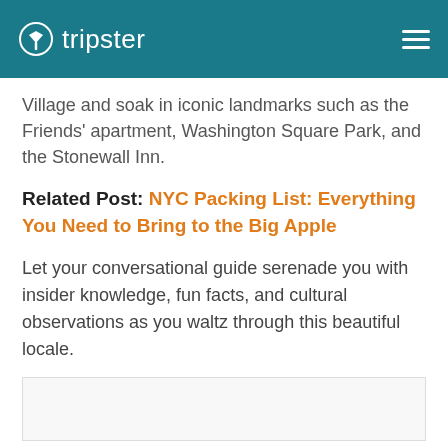tripster
Village and soak in iconic landmarks such as the Friends' apartment, Washington Square Park, and the Stonewall Inn.
Related Post: NYC Packing List: Everything You Need to Bring to the Big Apple
Let your conversational guide serenade you with insider knowledge, fun facts, and cultural observations as you waltz through this beautiful locale.
[Figure (other): Partial image placeholder at bottom of page]